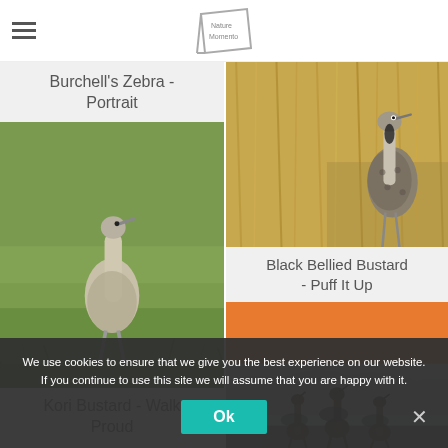Nature Momento (logo/header)
Burchell's Zebra - Portrait
[Figure (photo): Kori Bustard bird walking in green grassland savannah]
Kori Bustard - Walk Proud
[Figure (photo): Black Bellied Bustard bird standing in tall dry grass]
Black Bellied Bustard - Puff It Up
[Figure (photo): Ostriches in misty landscape at sunset with orange sky]
We use cookies to ensure that we give you the best experience on our website. If you continue to use this site we will assume that you are happy with it.